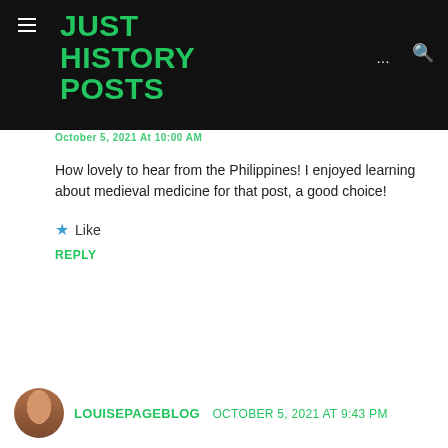JUST HISTORY POSTS
October 5, 2021 At 10:00 AM
How lovely to hear from the Philippines! I enjoyed learning about medieval medicine for that post, a good choice!
Like
REPLY
LOUISEPAGEBLOG   OCTOBER 5, 2021 AT 9:43 PM